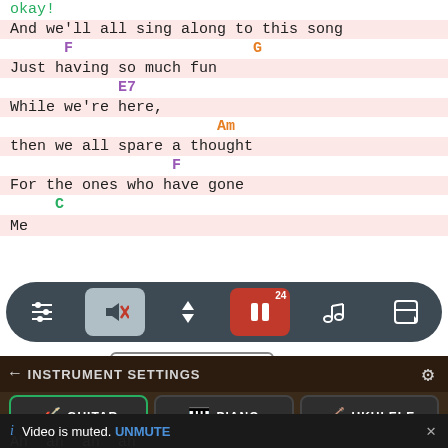okay!
And we'll all sing along to this song
F                    G
Just having so much fun
E7
While we're here,
Am
then we all spare a thought
F
For the ones who have gone
[Figure (screenshot): Music app toolbar with controls: settings sliders, muted speaker, up/down arrows, pause button with badge 24, music note, and layout icon]
C | do major
← INSTRUMENT SETTINGS
GUITAR   PIANO   UKULELE
i  Video is muted. UNMUTE  ×
Ah  ah  ah  ah